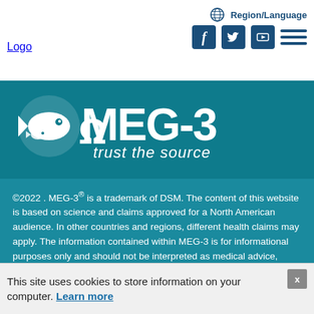[Figure (logo): Logo placeholder image in navigation bar, top left]
Region/Language  [social icons: Facebook, Twitter, YouTube]  [hamburger menu]
[Figure (logo): OMEGA-3 MEG-3 'trust the source' logo on teal background banner]
©2022 . MEG-3® is a trademark of DSM. The content of this website is based on science and claims approved for a North American audience. In other countries and regions, different health claims may apply. The information contained within MEG-3 is for informational purposes only and should not be interpreted as medical advice, diagnosis or treatment. Consult your health care practitioner before changing your dietary regimen. Most of the content on this website has been translated from English by professional translators. We take great care to avoid using words and phrases that are too country-specific in order to make the website easily accessible to as many readers as possible. If, despite our efforts, a word or an expression is unfamiliar to you, we apologize for the
This site uses cookies to store information on your computer. Learn more